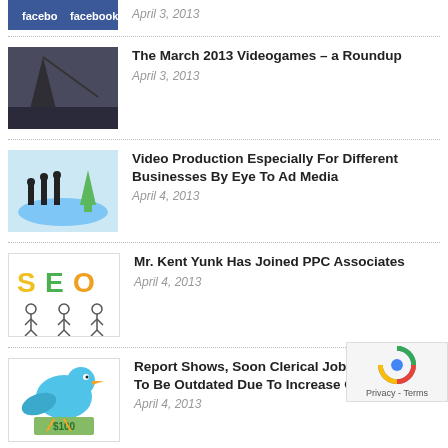[Figure (photo): Partial view of two Facebook logo images at top of page]
April 3, 2013
[Figure (photo): Dark photo of archery or crane scene against grey sky]
The March 2013 Videogames – a Roundup
April 3, 2013
[Figure (illustration): Business people silhouettes standing on blue arrows with upward green arrow trend]
Video Production Especially For Different Businesses By Eye To Ad Media
April 4, 2013
[Figure (illustration): SEO text with cartoon characters]
Mr. Kent Yunk Has Joined PPC Associates
April 4, 2013
[Figure (illustration): Blue Twitter bird holding dollar bill]
Report Shows, Soon Clerical Jobs Are Going To Be Outdated Due To Increase Of Technology
April 4, 2013
[Figure (photo): Partial view of custom business card holder]
How a Custom Business Card Holder Is